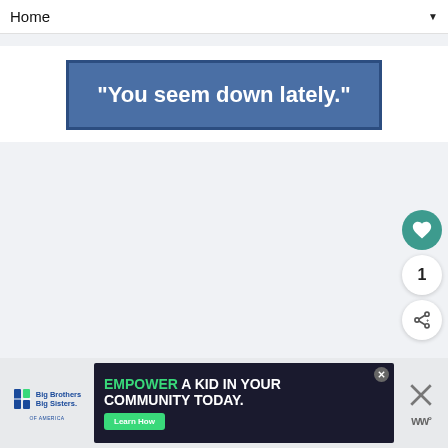Home ▼
[Figure (other): Blue banner with white bold text reading: “You seem down lately.”]
Big Brothers Big Sisters | EMPOWER A KID IN YOUR COMMUNITY TODAY. Learn How